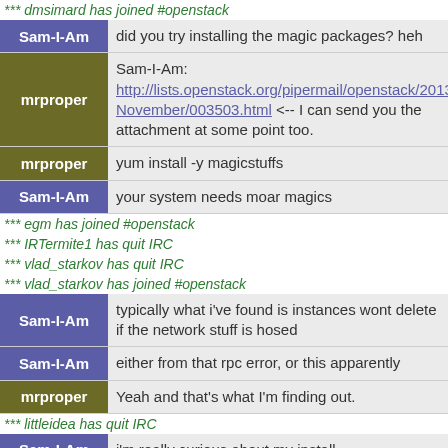*** dmsimard has joined #openstack
Sam-I-Am: did you try installing the magic packages? heh
mrproper: Sam-I-Am: http://lists.openstack.org/pipermail/openstack/2013-November/003503.html <-- I can send you the attachment at some point too.
mrproper: yum install -y magicstuffs
Sam-I-Am: your system needs moar magics
*** egm has joined #openstack
*** IRTermite1 has quit IRC
*** vlad_starkov has quit IRC
*** vlad_starkov has joined #openstack
Sam-I-Am: typically what i've found is instances wont delete if the network stuff is hosed
Sam-I-Am: either from that rpc error, or this apparently
mrproper: Yeah and that's what I'm finding out.
*** littleidea has quit IRC
Sam-I-Am: i'm really curious about my install
mrproper: What about it
Sam-I-Am: wonder if i'll have the same errors or different ones
mrproper: I hope yo uhave the same ones.
mrproper: otherwise i'll feel like an idiot :)